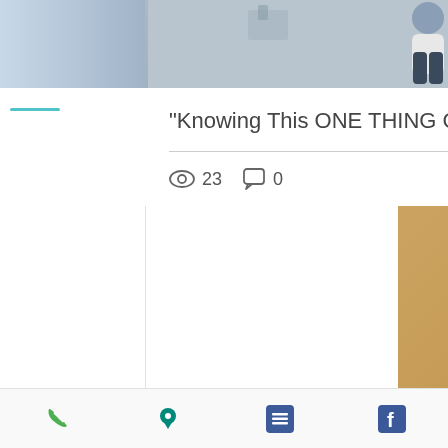[Figure (screenshot): Blog post card with photo of two people, title text, view count 23, comment count 0, and heart/like icon]
"Knowing This ONE THING Could Be Key To...
23   0
[Figure (infographic): Carousel pagination dots: green filled, two gray]
504-407-3477
4931 West Esplanade Avenue, Suite B
Metairie, LA 70006
The material contained in the Tandem Physical Therapy, LLC website is provided for educational and informational purposes only and is not to be used or relied on for any diagnostic or treatment purposes and should not be construed, nor is
[Figure (infographic): Bottom navigation bar with phone icon, location pin icon, list/menu icon, and Facebook icon]